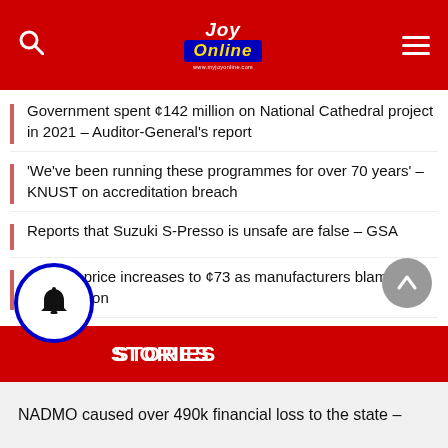JOY Online
Government spent ¢142 million on National Cathedral project in 2021 – Auditor-General's report
'We've been running these programmes for over 70 years' – KNUST on accreditation breach
Reports that Suzuki S-Presso is unsafe are false – GSA
Cement price increases to ¢73 as manufacturers blame cedi depreciation
Auditor-General queries Management of Accra Digital Centre for ¢1m write-off of debts
LATEST STORIES
NADMO caused over 490k financial loss to the state –